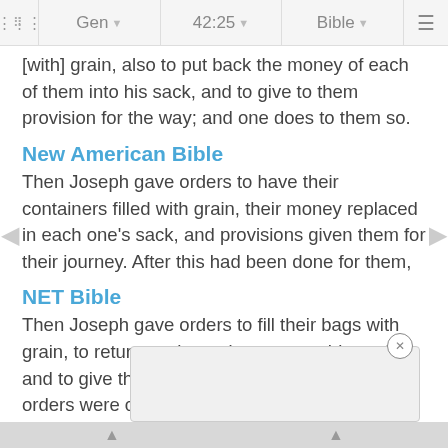Gen | 42:25 | Bible
[with] grain, also to put back the money of each of them into his sack, and to give to them provision for the way; and one does to them so.
New American Bible
Then Joseph gave orders to have their containers filled with grain, their money replaced in each one's sack, and provisions given them for their journey. After this had been done for them,
NET Bible
Then Joseph gave orders to fill their bags with grain, to return each man's money to his sack, and to give them provisions for the journey. His orders were carried out.
New Revised Standard Version
Josep... rain, to retu... give